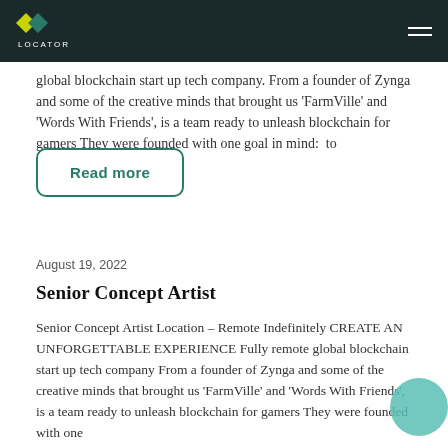GG LOCATORS
global blockchain start up tech company. From a founder of Zynga and some of the creative minds that brought us 'FarmVille' and 'Words With Friends', is a team ready to unleash blockchain for gamers They were founded with one goal in mind: to
Read more
August 19, 2022
Senior Concept Artist
Senior Concept Artist Location – Remote Indefinitely CREATE AN UNFORGETTABLE EXPERIENCE Fully remote global blockchain start up tech company From a founder of Zynga and some of the creative minds that brought us 'FarmVille' and 'Words With Friends', is a team ready to unleash blockchain for gamers They were founded with one